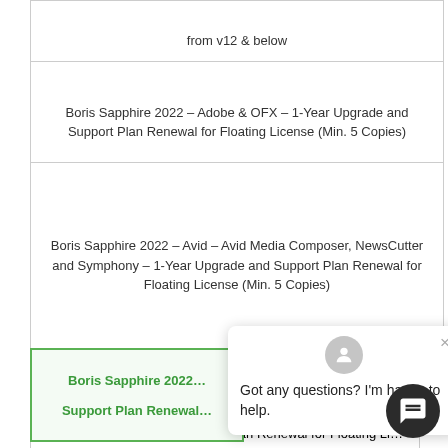from v12 & below
Boris Sapphire 2022 – Adobe & OFX – 1-Year Upgrade and Support Plan Renewal for Floating License (Min. 5 Copies)
Boris Sapphire 2022 – Avid – Avid Media Composer, NewsCutter and Symphony – 1-Year Upgrade and Support Plan Renewal for Floating License (Min. 5 Copies)
Boris Sapphire 2022 … Support Plan Renewal…
Boris Sapphire 2022 – All Hosts: Adobe, OFX, Avid, and Autodesk – 1-Year Upgrade and Support Plan Renewal for Floating Li…
Got any questions? I'm happy to help.